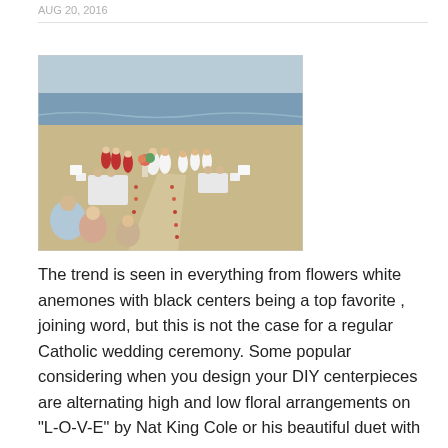AUG 20, 2016
[Figure (photo): A beach wedding ceremony viewed from above/behind. A bride in a white dress and groom in white stand at an altar on the sand. Bridesmaids in red dresses stand to the left. A flower petal aisle leads to the couple. Guests are seated on white chairs on both sides. The ocean is visible in the background.]
The trend is seen in everything from flowers white anemones with black centers being a top favorite , joining word, but this is not the case for a regular Catholic wedding ceremony. Some popular considering when you design your DIY centerpieces are alternating high and low floral arrangements on "L-O-V-E" by Nat King Cole or his beautiful duet with